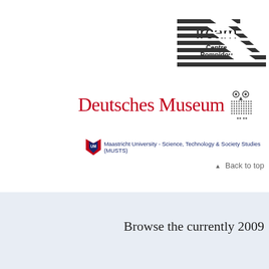[Figure (logo): IRCAM Centre Pompidou logo with abstract horizontal lines graphic]
[Figure (logo): Deutsches Museum logo with owl icon]
[Figure (logo): Maastricht University - Science, Technology & Society Studies (MUSTS) logo]
▲ Back to top
Browse the currently 2009